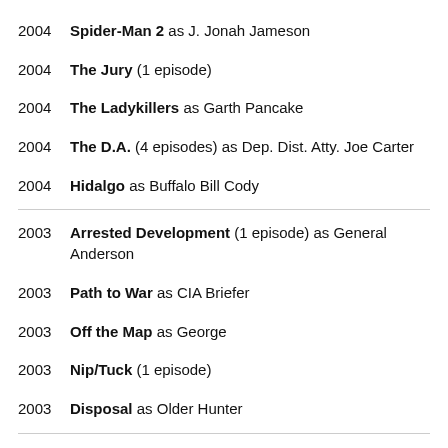2004  Spider-Man 2 as J. Jonah Jameson
2004  The Jury (1 episode)
2004  The Ladykillers as Garth Pancake
2004  The D.A. (4 episodes) as Dep. Dist. Atty. Joe Carter
2004  Hidalgo as Buffalo Bill Cody
2003  Arrested Development (1 episode) as General Anderson
2003  Path to War as CIA Briefer
2003  Off the Map as George
2003  Nip/Tuck (1 episode)
2003  Disposal as Older Hunter
2002  Without a Trace (1 episode) as Mark Wilson